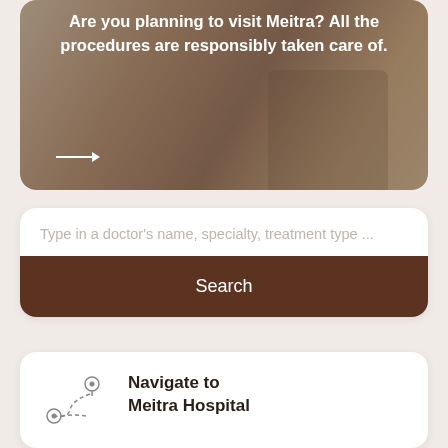[Figure (photo): Hero banner image showing a person at a desk with text overlay about visiting Meitra and procedures being responsibly taken care of, with a right-pointing arrow]
procedures are responsibly taken care of.
Type in a doctor's name, specialty, treatment type ...
Search
[Figure (illustration): Route/navigation icon showing two location pin markers connected by a dashed winding path]
Navigate to
Meitra Hospital